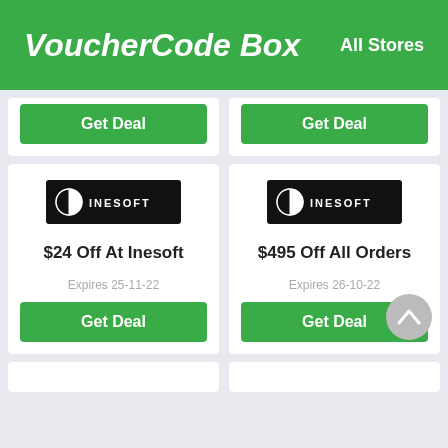VoucherCode Box   All Stores
[Figure (logo): VoucherCode Box logo on green header with 'All Stores' link]
Get Deal
Get Deal
[Figure (logo): Inesoft logo - black rectangle with half-circle icon and INESOFT text]
$24 Off At Inesoft
Expires 25-11-22
Get Deal
[Figure (logo): Inesoft logo - black rectangle with half-circle icon and INESOFT text]
$495 Off All Orders
Expires 26-10-22
Get Deal